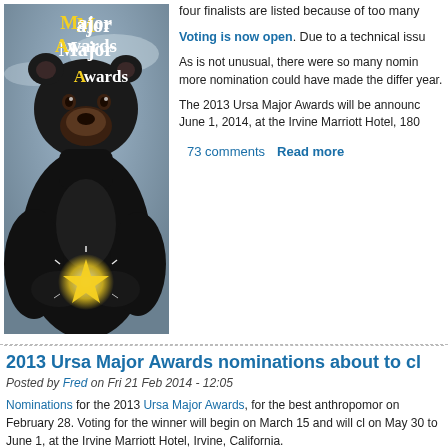four finalists are listed because of too many
Voting is now open. Due to a technical issu
[Figure (illustration): Illustration of a black bear holding a glowing star, with text 'Major Awards' in gold/white lettering on a grey background]
As is not unusual, there were so many nomin more nomination could have made the differ year.
The 2013 Ursa Major Awards will be announc June 1, 2014, at the Irvine Marriott Hotel, 180
73 comments   Read more
2013 Ursa Major Awards nominations about to cl
Posted by Fred on Fri 21 Feb 2014 - 12:05
Nominations for the 2013 Ursa Major Awards, for the best anthropomor on February 28. Voting for the winner will begin on March 15 and will cl on May 30 to June 1, at the Irvine Marriott Hotel, Irvine, California.